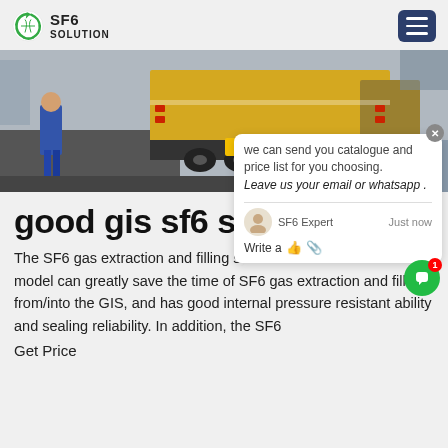SF6 SOLUTION
[Figure (photo): A truck with yellow rear cargo bed and license plate V2578 at a loading/unloading area, with a person in blue jeans visible on the left and a diamond-plate ramp surface on the right.]
good gis sf6 system HDDC
The SF6 gas extraction and filling system disclosed in the utility model can greatly save the time of SF6 gas extraction and filling from/into the GIS, and has good internal pressure resistant ability and sealing reliability. In addition, the SF6
Get Price